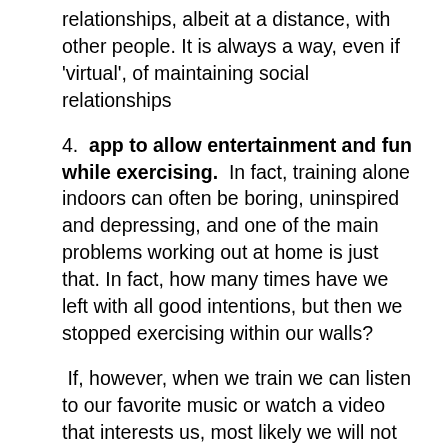relationships, albeit at a distance, with other people. It is always a way, even if 'virtual', of maintaining social relationships
4.  app to allow entertainment and fun while exercising.  In fact, training alone indoors can often be boring, uninspired and depressing, and one of the main problems working out at home is just that. In fact, how many times have we left with all good intentions, but then we stopped exercising within our walls?
If, however, when we train we can listen to our favorite music or watch a video that interests us, most likely we will not be bored. There are applications, then, that allow you to recreate the setting and the noises that could be seen and heard out there.